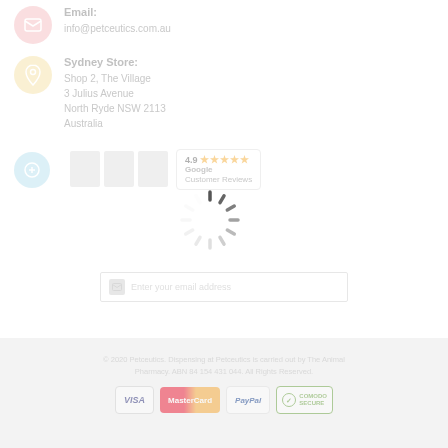Email: info@petceutics.com.au
Sydney Store:
Shop 2, The Village
3 Julius Avenue
North Ryde NSW 2113
Australia
[Figure (screenshot): Loading spinner overlay with Google Customer Reviews badge (rating 4.9, 5 stars) and social media icons in the background]
[Figure (screenshot): Email address input field with envelope icon placeholder]
© 2020 Petceutics. Dispensing at Petceutics is carried out by The Animal Pharmacy. ABN 84 154 431 044. All Rights Reserved.
[Figure (infographic): Payment method icons: VISA, MasterCard, PayPal, Comodo Secure]